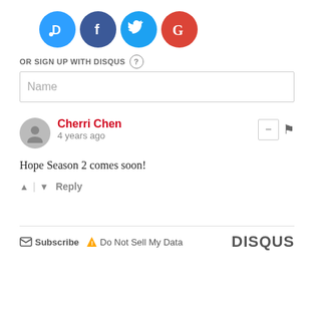[Figure (logo): Social login icons: Disqus (blue), Facebook (dark blue), Twitter (light blue), Google (red)]
OR SIGN UP WITH DISQUS ?
Name
Cherri Chen
4 years ago
Hope Season 2 comes soon!
Subscribe  Do Not Sell My Data
[Figure (logo): DISQUS logo in dark gray]